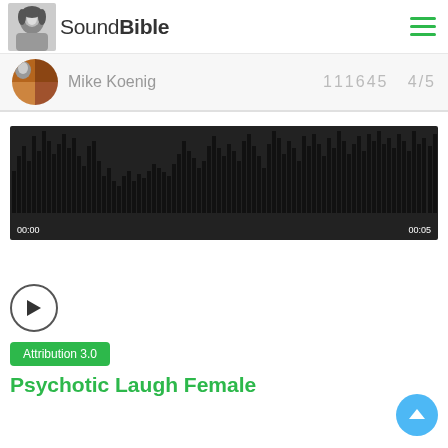SoundBible
Mike Koenig   111645   4/5
[Figure (other): Audio waveform visualization showing sound amplitude over time with timestamps 00:00 and 00:05, with a play button below]
Attribution 3.0
Psychotic Laugh Female